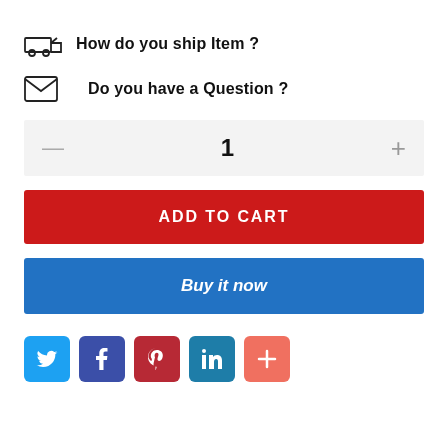How do you ship Item ?
Do you have a Question ?
1
ADD TO CART
Buy it now
[Figure (infographic): Social share buttons row: Twitter, Facebook, Pinterest, LinkedIn, More (+)]